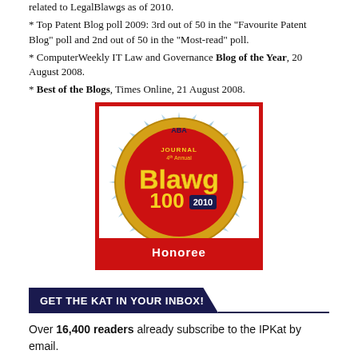related to LegalBlawgs as of 2010.
Top Patent Blog poll 2009: 3rd out of 50 in the "Favourite Patent Blog" poll and 2nd out of 50 in the "Most-read" poll.
ComputerWeekly IT Law and Governance Blog of the Year, 20 August 2008.
Best of the Blogs, Times Online, 21 August 2008.
[Figure (logo): ABA Journal 4th Annual Blawg 100 Honoree badge - gold circular seal on blue/white sunburst background with red banner at bottom reading Honoree]
GET THE KAT IN YOUR INBOX!
Over 16,400 readers already subscribe to the IPKat by email.
To subscribe click here and enter your preferred e-mail address.
Any problems, please let the IPKat team know.